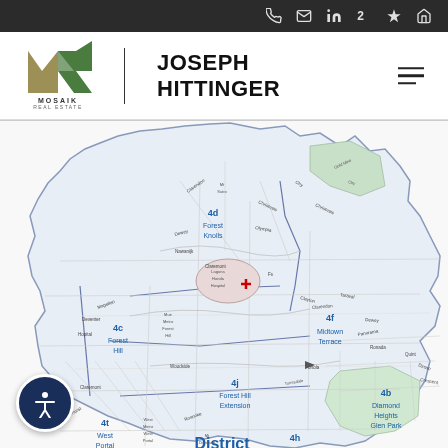Navigation bar with phone, email, LinkedIn, Zillow, Yelp, and home icons
[Figure (logo): Mosaik Real Estate logo with MK monogram and text MOSAIK REAL ESTATE]
JOSEPH HITTINGER
[Figure (map): Street map of San Francisco districts showing neighborhoods: 4d Forest Knolls, 4c Forest Hill, 4f Midtown Terrace, 4j Forest Hill Extension, 4b Diamond Heights / Glen Park, 4t West Portal, 4h Miraloma Park, District 4, with Laguna Honda Hospital marked with a red cross]